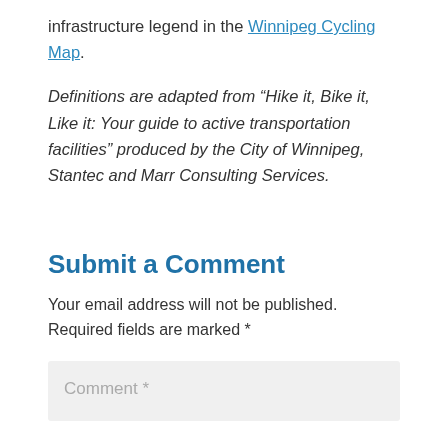infrastructure legend in the Winnipeg Cycling Map.
Definitions are adapted from “Hike it, Bike it, Like it: Your guide to active transportation facilities” produced by the City of Winnipeg, Stantec and Marr Consulting Services.
Submit a Comment
Your email address will not be published. Required fields are marked *
Comment *